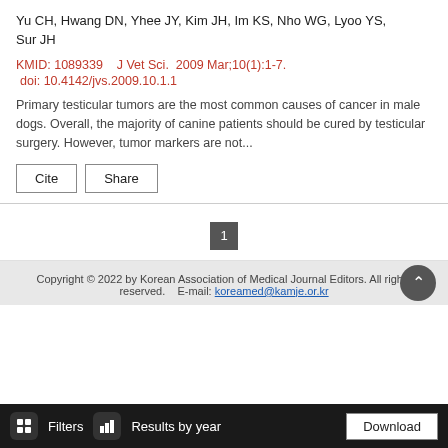Yu CH, Hwang DN, Yhee JY, Kim JH, Im KS, Nho WG, Lyoo YS, Sur JH
KMID: 1089339    J Vet Sci.  2009 Mar;10(1):1-7.   doi: 10.4142/jvs.2009.10.1.1
Primary testicular tumors are the most common causes of cancer in male dogs. Overall, the majority of canine patients should be cured by testicular surgery. However, tumor markers are not...
Copyright © 2022 by Korean Association of Medical Journal Editors. All rights reserved.    E-mail: koreamed@kamje.or.kr
Filters   Results by year   Download